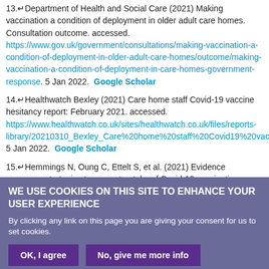13. Department of Health and Social Care (2021) Making vaccination a condition of deployment in older adult care homes. Consultation outcome. accessed. https://www.gov.uk/government/consultations/making-vaccination-a-condition-of-deployment-in-older-adult-care-homes/outcome/making-vaccination-a-condition-of-deployment-in-care-homes-government-response. 5 Jan 2022. Google Scholar
14. Healthwatch Bexley (2021) Care home staff Covid-19 vaccine hesitancy report: February 2021. accessed. https://www.healthwatch.co.uk/sites/healthwatch.co.uk/files/reports-library/20210310_Bexley_Care%20home%20staff%20Covid19%20vaccinati. 5 Jan 2022. Google Scholar
15. Hemmings N, Oung C, Ettelt S, et al. (2021) Evidence summary: strategies to support uptake of Covid-19 vaccinations among staff working
WE USE COOKIES ON THIS SITE TO ENHANCE YOUR USER EXPERIENCE
By clicking any link on this page you are giving your consent for us to set cookies.